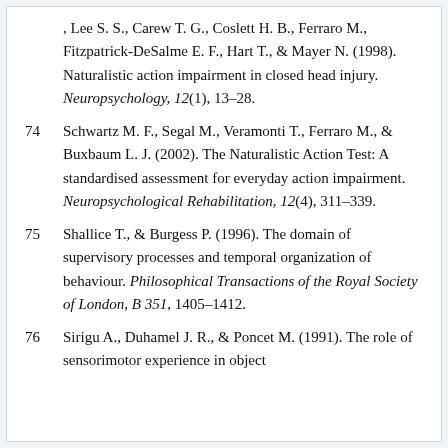, Lee S. S., Carew T. G., Coslett H. B., Ferraro M., Fitzpatrick-DeSalme E. F., Hart T., & Mayer N. (1998). Naturalistic action impairment in closed head injury. Neuropsychology, 12(1), 13–28.
74  Schwartz M. F., Segal M., Veramonti T., Ferraro M., & Buxbaum L. J. (2002). The Naturalistic Action Test: A standardised assessment for everyday action impairment. Neuropsychological Rehabilitation, 12(4), 311–339.
75  Shallice T., & Burgess P. (1996). The domain of supervisory processes and temporal organization of behaviour. Philosophical Transactions of the Royal Society of London, B 351, 1405–1412.
76  Sirigu A., Duhamel J. R., & Poncet M. (1991). The role of sensorimotor experience in object